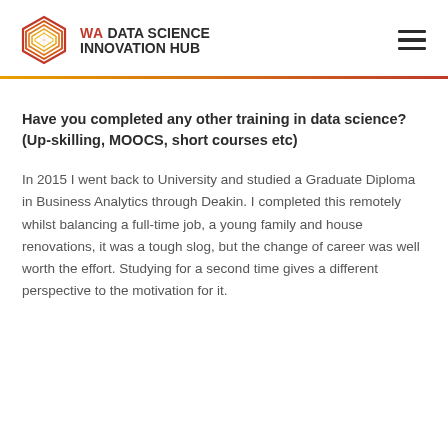WA DATA SCIENCE INNOVATION HUB
Have you completed any other training in data science? (Up-skilling, MOOCS, short courses etc)
In 2015 I went back to University and studied a Graduate Diploma in Business Analytics through Deakin.  I completed this remotely whilst balancing a full-time job, a young family and house renovations, it was a tough slog, but the change of career was well worth the effort.  Studying for a second time gives a different perspective to the motivation for it.